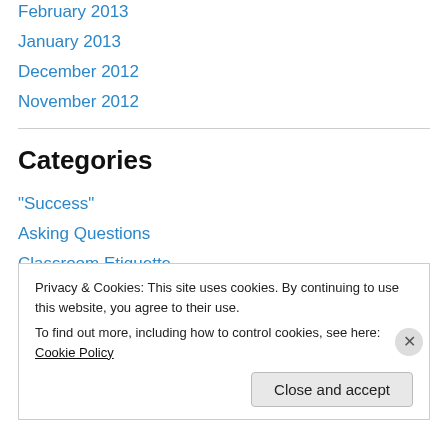February 2013
January 2013
December 2012
November 2012
Categories
"Success"
Asking Questions
Classroom Etiquette
Group Work
Learning
Privacy & Cookies: This site uses cookies. By continuing to use this website, you agree to their use.
To find out more, including how to control cookies, see here: Cookie Policy
Close and accept